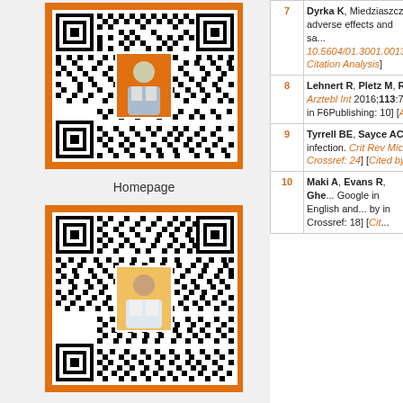[Figure (illustration): QR code with person photo overlay on orange background, labeled Homepage]
Homepage
[Figure (illustration): QR code with person photo overlay on orange background, labeled Online Submission]
Online Submission
| # | Reference |
| --- | --- |
| 7 | Dyrka K, Miedziaszcz... adverse effects and sa... 10.5604/01.3001.0013... Citation Analysis] |
| 8 | Lehnert R, Pletz M, R... Arztebl Int 2016;113:7... in F6Publishing: 10] [A... |
| 9 | Tyrrell BE, Sayce AC... infection. Crit Rev Mic... Crossref: 24] [Cited by... |
| 10 | Maki A, Evans R, Ghe... Google in English and... by in Crossref: 18] [Cit... |